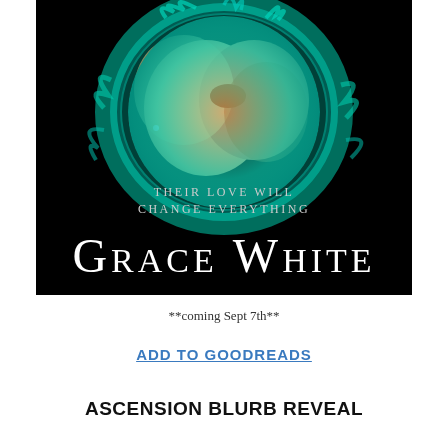[Figure (illustration): Book cover for 'Grace White' showing two people kissing surrounded by teal/cyan flame or smoke ring against a black background. Text on cover reads 'THEIR LOVE WILL CHANGE EVERYTHING' and author name 'GRACE WHITE' in large white serif letters at bottom.]
**coming Sept 7th**
ADD TO GOODREADS
ASCENSION BLURB REVEAL